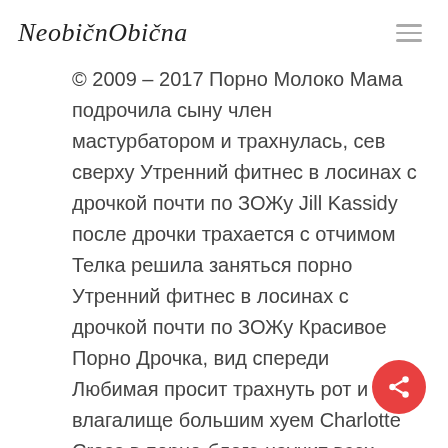NeobičnObična
© 2009 – 2017 Порно Молоко Мама подрочила сыну член мастурбатором и трахнулась, сев сверху Утренний фитнес в лосинах с дрочкой почти по ЗОЖу Jill Kassidy после дрочки трахается с отчимом Телка решила заняться порно Утренний фитнес в лосинах с дрочкой почти по ЗОЖу Красивое Порно Дрочка, вид спереди Любимая просит трахнуть рот и влагалище большим хуем Charlotte Cross в порно-блоге научит всех